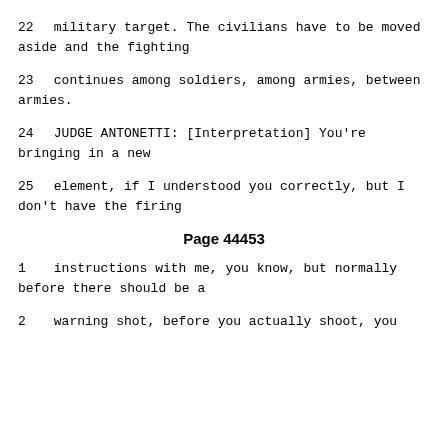22    military target.  The civilians have to be moved aside and the fighting
23    continues among soldiers, among armies, between armies.
24            JUDGE ANTONETTI: [Interpretation] You're bringing in a new
25    element, if I understood you correctly, but I don't have the firing
Page 44453
1    instructions with me, you know, but normally before there should be a
2    warning shot, before you actually shoot, you